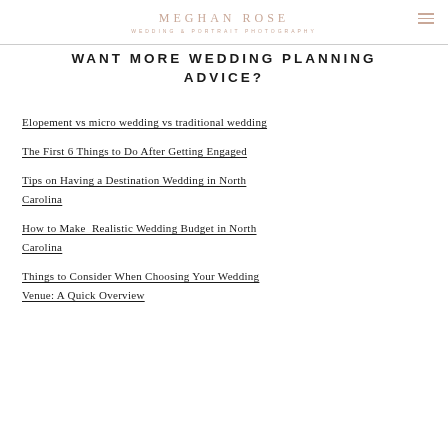MEGHAN ROSE — WEDDING & PORTRAIT PHOTOGRAPHY
WANT MORE WEDDING PLANNING ADVICE?
Elopement vs micro wedding vs traditional wedding
The First 6 Things to Do After Getting Engaged
Tips on Having a Destination Wedding in North Carolina
How to Make  Realistic Wedding Budget in North Carolina
Things to Consider When Choosing Your Wedding Venue: A Quick Overview